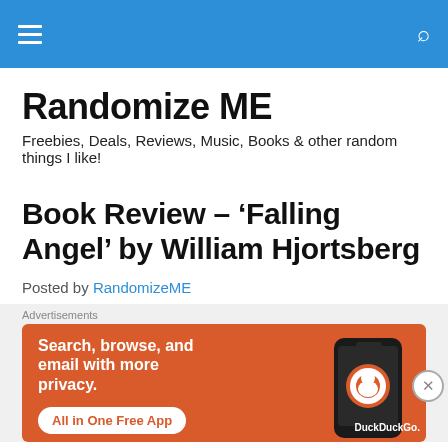Randomize ME — navigation bar
Randomize ME
Freebies, Deals, Reviews, Music, Books & other random things I like!
Book Review – 'Falling Angel' by William Hjortsberg
Posted by RandomizeME
Advertisements
[Figure (other): DuckDuckGo advertisement banner: orange background with a phone showing the DuckDuckGo app. Text: 'Search, browse, and email with more privacy. All in One Free App'. DuckDuckGo logo on phone.]